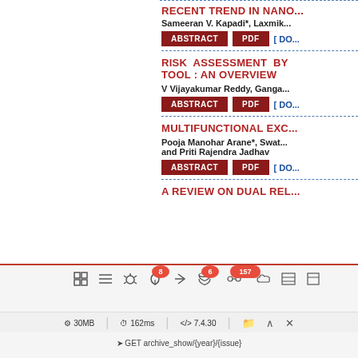RECENT TREND IN NANO...
Sameeran V. Kapadi*, Laxmik...
RISK ASSESSMENT BY TOOL : AN OVERVIEW
V Vijayakumar Reddy, Ganga...
MULTIFUNCTIONAL EXC...
Pooja Manohar Arane*, Swat... and Priti Rajendra Jadhav
A REVIEW ON DUAL REL...
[Figure (screenshot): Laravel debug toolbar at bottom of browser window showing icons with notification badges (8, 6, 157), Laravel logo, tag icon, and status bar showing 30MB memory, 162ms load time, PHP version 7.4.30, and route GET archive_show/{year}/{issue}]